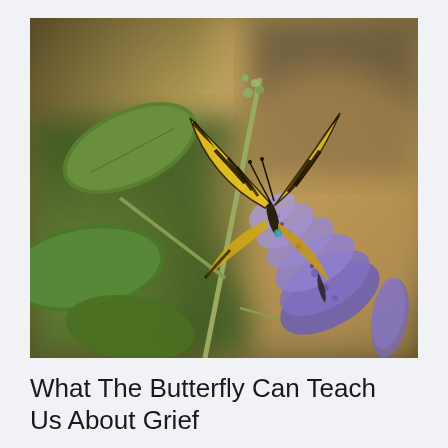[Figure (photo): A yellow and black swallowtail butterfly perched on a purple buddleia (butterfly bush) flower spike, with green leaves and a warm blurred background of olive and brown tones.]
What The Butterfly Can Teach Us About Grief